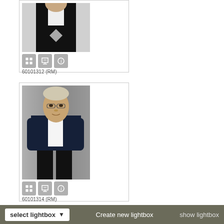[Figure (photo): Black and white photo of a person in dark suit with hands forming a diamond shape, cropped body shot]
60101312 (RM)
[Figure (photo): Portrait photo of a middle-aged man in dark blazer and white shirt standing against grey background]
60101314 (RM)
[Figure (photo): Partially visible portrait photo, cropped at bottom of page]
select lightbox
Create new lightbox
show lightbox